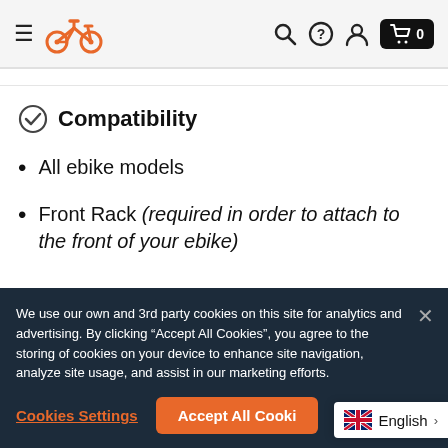Navigation header with hamburger menu, bike logo, search, help, account, and cart icons
Compatibility
All ebike models
Front Rack (required in order to attach to the front of your ebike)
We use our own and 3rd party cookies on this site for analytics and advertising. By clicking “Accept All Cookies”, you agree to the storing of cookies on your device to enhance site navigation, analyze site usage, and assist in our marketing efforts.
Cookies Settings
Accept All Cookies
English